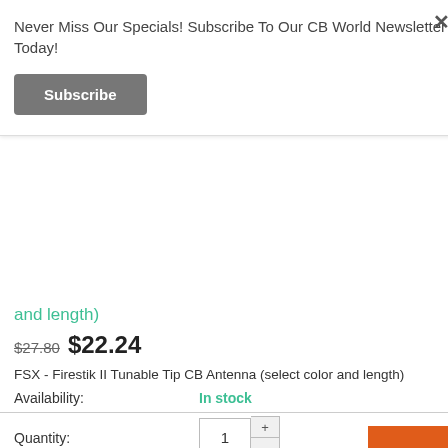Never Miss Our Specials! Subscribe To Our CB World Newsletter Today!
Subscribe
and length)
$27.80 $22.24
FSX - Firestik II Tunable Tip CB Antenna (select color and length)
Availability: In stock
Quantity: 1
ADD TO CART